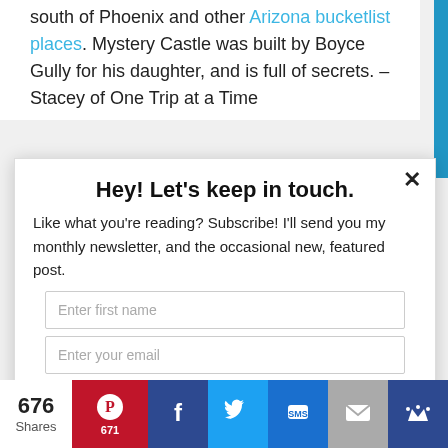south of Phoenix and other Arizona bucketlist places. Mystery Castle was built by Boyce Gully for his daughter, and is full of secrets. – Stacey of One Trip at a Time
Hey! Let's keep in touch.
Like what you're reading? Subscribe! I'll send you my monthly newsletter, and the occasional new, featured post.
Enter first name
Enter your email
Subscribe
676 Shares
671